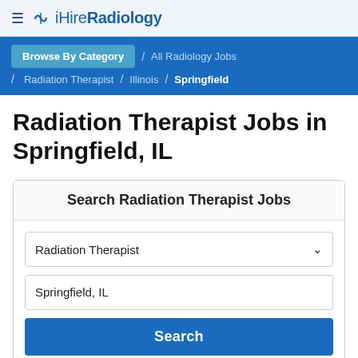≡ iHireRadiology
Browse By Category / All Radiology Jobs / Radiation Therapist / Illinois / Springfield
Radiation Therapist Jobs in Springfield, IL
Search Radiation Therapist Jobs
Radiation Therapist
Springfield, IL
Search